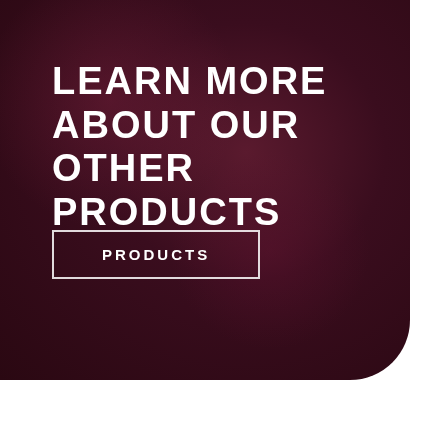[Figure (illustration): Dark maroon/burgundy rounded rectangle card with radial gradient background, containing a headline and a button]
LEARN MORE ABOUT OUR OTHER PRODUCTS
PRODUCTS